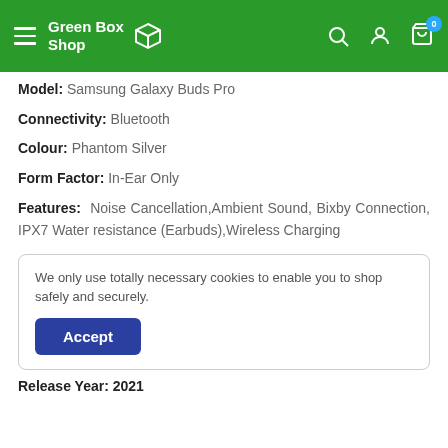Green Box Shop
Model: Samsung Galaxy Buds Pro
Connectivity: Bluetooth
Colour: Phantom Silver
Form Factor: In-Ear Only
Features: Noise Cancellation,Ambient Sound, Bixby Connection, IPX7 Water resistance (Earbuds),Wireless Charging
We only use totally necessary cookies to enable you to shop safely and securely.
Accept
Release Year: 2021